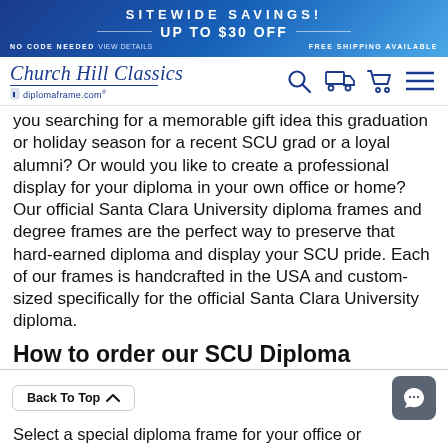SITEWIDE SAVINGS! UP TO $30 OFF — NO CODE NEEDED View details FREE SHIPPING AVAILABLE
[Figure (logo): Church Hill Classics / diplomaframe.com logo with navigation icons]
you searching for a memorable gift idea this graduation or holiday season for a recent SCU grad or a loyal alumni? Or would you like to create a professional display for your diploma in your own office or home? Our official Santa Clara University diploma frames and degree frames are the perfect way to preserve that hard-earned diploma and display your SCU pride. Each of our frames is handcrafted in the USA and custom-sized specifically for the official Santa Clara University diploma.
How to order our SCU Diploma F
Select a special diploma frame for your office or